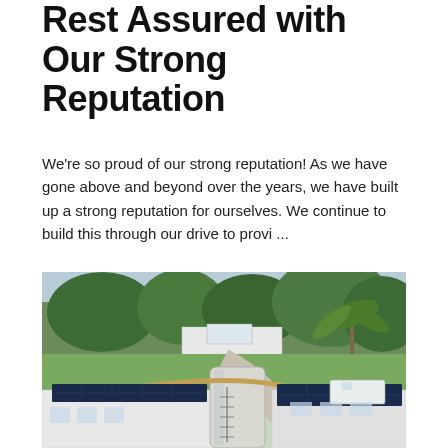Rest Assured with Our Strong Reputation
We're so proud of our strong reputation! As we have gone above and beyond over the years, we have built up a strong reputation for ourselves. We continue to build this through our drive to provi ...
[Figure (photo): Aerial view of a modern commercial building with solar panels installed on the rooftop, surrounded by trees, a palm tree, parked vehicles including a white van and a white truck, and a paved driveway.]